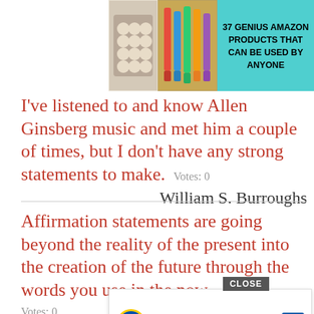[Figure (photo): Advertisement banner with teal background showing baking products on left, colored pens/markers on right, and text '37 GENIUS AMAZON PRODUCTS THAT CAN BE USED BY ANYONE']
I've listened to and know Allen Ginsberg music and met him a couple of times, but I don't have any strong statements to make.  Votes: 0
William S. Burroughs
Affirmation statements are going beyond the reality of the present into the creation of the future through the words you use in the now.
Votes: 0
Louise Hay
My op... techn... ...ound new w...
[Figure (screenshot): Popup advertisement overlay showing Lidl logo with 'In-store shopping' label and a navigation/direction icon, with CLOSE button]